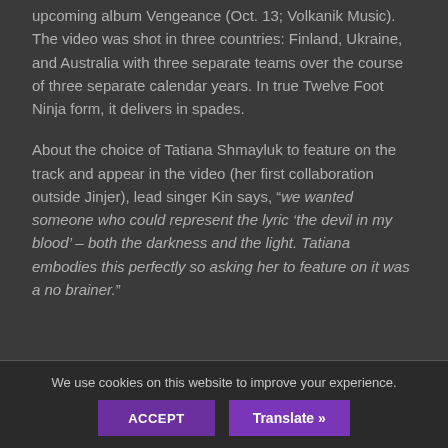upcoming album Vengeance (Oct. 13; Volkanik Music). The video was shot in three countries: Finland, Ukraine, and Australia with three separate teams over the course of three separate calendar years. In true Twelve Foot Ninja form, it delivers in spades.
About the choice of Tatiana Shmayluk to feature on the track and appear in the video (her first collaboration outside Jinjer), lead singer Kin says, “we wanted someone who could represent the lyric ‘the devil in my blood’ – both the darkness and the light. Tatiana embodies this perfectly so asking her to feature on it was a no brainer.”
We use cookies on this website to improve your experience.